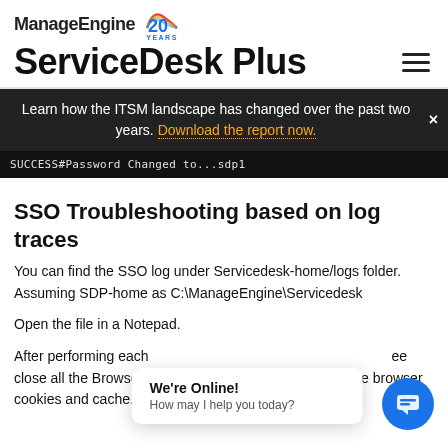ManageEngine ServiceDesk Plus
Learn how the ITSM landscape has changed over the past two years. Download the report now.
[Figure (screenshot): Terminal/console output showing: SUCCESS#Password Changed to...sdp1]
SSO Troubleshooting based on log traces
You can find the SSO log under Servicedesk-home/logs folder. Assuming SDP-home as C:\ManageEngine\Servicedesk
Open the file in a Notepad.
After performing each step, close all the Browser instances and clear the browser cookies and cache.